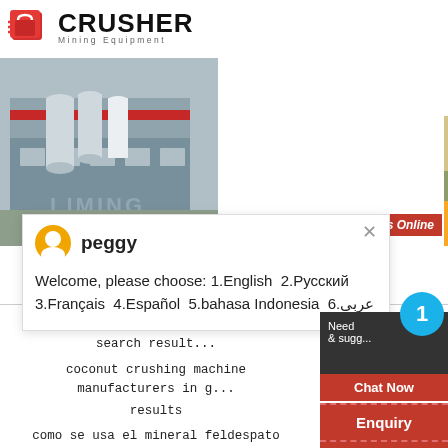[Figure (logo): Crusher Mining Equipment logo with red shopping bag icon and bold CRUSHER text]
[Figure (photo): Industrial cement or mineral processing plant with large cylindrical silos and grey equipment buildings]
[Figure (photo): Yellow heavy mining/crushing machine loaded on a flatbed truck, with white cylindrical drums]
24Hrs Online
peggy
Welcome, please choose: 1.English  2.Русский  3.Français  4.Español  5.bahasa Indonesia  6.عربى
stone crusher for sale in goergia search results
coconut crushing machine manufacturers in ghana search results
como se usa el mineral feldespato search results
mobile crushers has percussion mining search